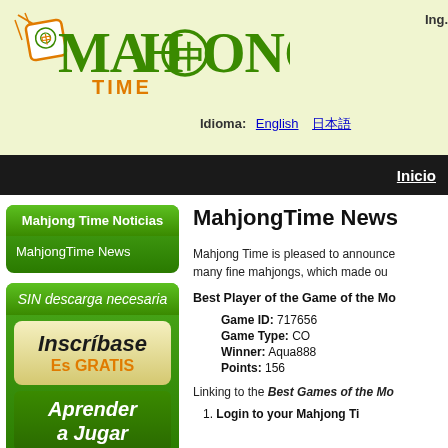[Figure (logo): Mahjong Time logo with green text and orange 'TIME' subtitle, decorative mahjong tile icon]
Ing.
Idioma:  English  日本語
Inicio
Mahjong Time Noticias
MahjongTime News
SIN descarga necesaria
Inscríbase
Es GRATIS
Aprender
a Jugar
MahjongTime News
Mahjong Time is pleased to announce many fine mahjongs, which made ou
Best Player of the Game of the Mo
Game ID: 717656
Game Type: CO
Winner: Aqua888
Points: 156
Linking to the Best Games of the Mo
1. Login to your Mahjong Ti